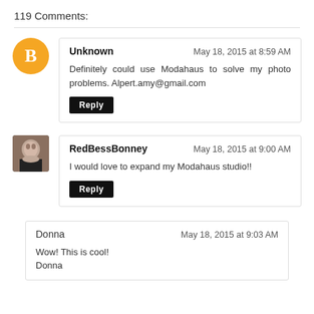119 Comments:
Unknown — May 18, 2015 at 8:59 AM
Definitely could use Modahaus to solve my photo problems. Alpert.amy@gmail.com
[Reply]
RedBessBonney — May 18, 2015 at 9:00 AM
I would love to expand my Modahaus studio!!
[Reply]
Donna — May 18, 2015 at 9:03 AM
Wow! This is cool!
Donna